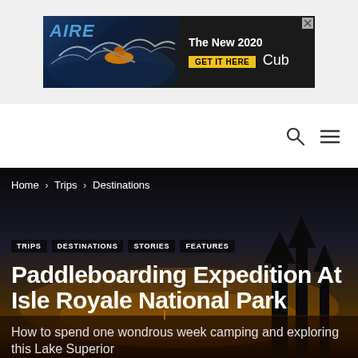[Figure (screenshot): AIRE rafting advertisement banner: The New 2020 GET IT HERE Cub]
Home › Trips › Destinations
TRIPS · DESTINATIONS · STORIES · FEATURES
Paddleboarding Expedition At Isle Royale National Park
How to spend one wondrous week camping and exploring this Lake Superior